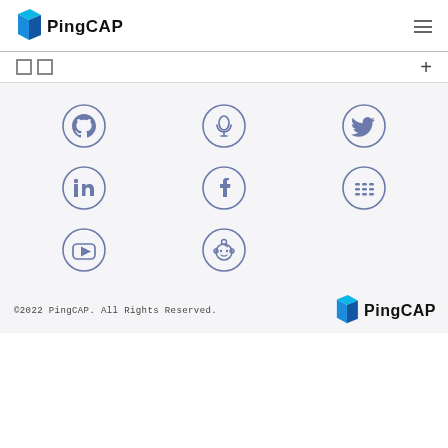[Figure (logo): PingCAP logo with blue geometric icon and PingCAP text in the page header]
[Figure (infographic): Hamburger menu icon (three horizontal lines) in top right]
□□  +
[Figure (infographic): Grid of 8 social media icons: GitHub, podcast/anchor, Twitter (row 1); LinkedIn, Facebook, Slack (row 2); YouTube, Reddit (row 3), all in circular outlines, slate-blue color]
©2022 PingCAP. All Rights Reserved.
[Figure (logo): PingCAP footer logo with blue geometric icon and PingCAP text]